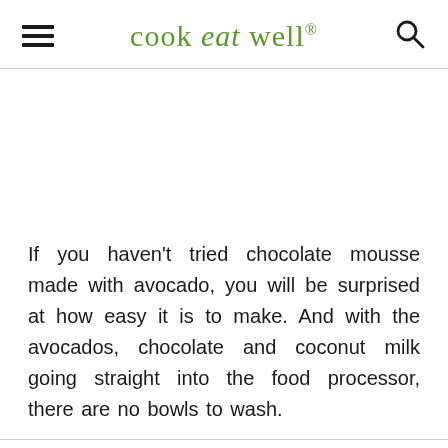cook eat well
[Figure (photo): White blank image placeholder area]
If you haven't tried chocolate mousse made with avocado, you will be surprised at how easy it is to make. And with the avocados, chocolate and coconut milk going straight into the food processor, there are no bowls to wash.